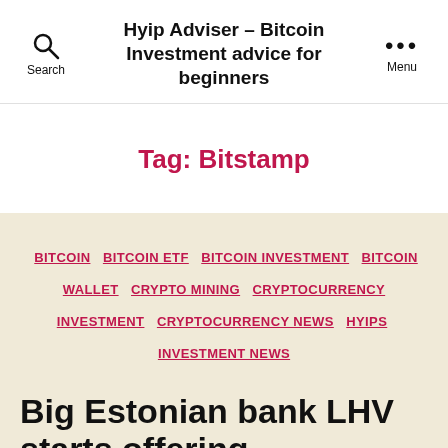Hyip Adviser - Bitcoin Investment advice for beginners
Tag: Bitstamp
BITCOIN
BITCOIN ETF
BITCOIN INVESTMENT
BITCOIN WALLET
CRYPTO MINING
CRYPTOCURRENCY INVESTMENT
CRYPTOCURRENCY NEWS
HYIPS
INVESTMENT NEWS
Big Estonian bank LHV starts offering